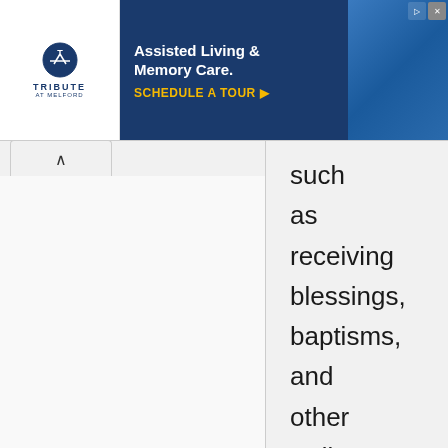[Figure (other): Advertisement banner for Tribute at Melford assisted living and memory care facility with logo, headline, and call to action to schedule a tour]
such as receiving blessings, baptisms, and other ordinances. Also, women participate in certain